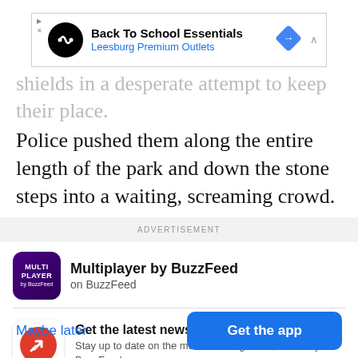[Figure (screenshot): Advertisement banner for 'Back To School Essentials – Leesburg Premium Outlets' with a black infinity-loop logo, blue subtitle text, and a blue diamond navigation icon]
shields in a desperate attempt to keep their place. Police pushed them along the entire length of the park and down the stone steps into a waiting, screaming crowd.
ADVERTISEMENT
[Figure (logo): Multiplayer by BuzzFeed app logo — purple/black square with MULTI PLAYER text]
Multiplayer by BuzzFeed
on BuzzFeed
[Figure (logo): BuzzFeed red circle icon with white upward arrow]
Get the latest news in the app! Stay up to date on the most breaking news, all from your BuzzFeed app.
Maybe later
Get the app